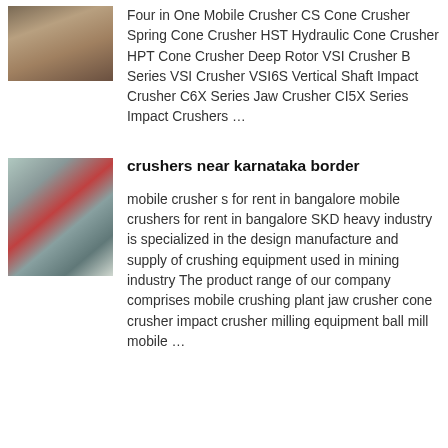[Figure (photo): Thumbnail photo of a crusher/mining site with earth and machinery]
Four in One Mobile Crusher CS Cone Crusher Spring Cone Crusher HST Hydraulic Cone Crusher HPT Cone Crusher Deep Rotor VSI Crusher B Series VSI Crusher VSI6S Vertical Shaft Impact Crusher C6X Series Jaw Crusher CI5X Series Impact Crushers …
[Figure (photo): Thumbnail photo of a crusher facility near Karnataka border with industrial conveyor structures and red equipment]
crushers near karnataka border
mobile crusher s for rent in bangalore mobile crushers for rent in bangalore SKD heavy industry is specialized in the design manufacture and supply of crushing equipment used in mining industry The product range of our company comprises mobile crushing plant jaw crusher cone crusher impact crusher milling equipment ball mill mobile …